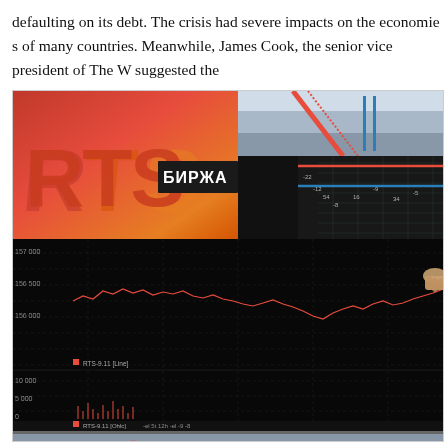defaulting on its debt. The crisis had severe impacts on the economies of many countries. Meanwhile, James Cook, the senior vice president of The W suggested the
[Figure (photo): Photograph of the RTS (Russian Trading System) stock exchange display screens showing the RTS БИРЖА (Exchange) logo in red/orange on the left, with multiple trading screens showing candlestick and line charts with dark backgrounds. The charts show price levels around 156,000-157,000 and volume data around 0-10,000. Red trading lines are visible on the chart panels.]